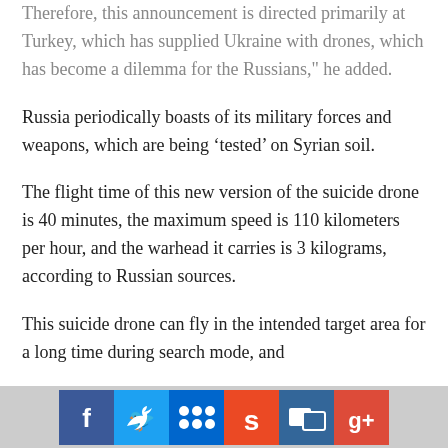Therefore, this announcement is directed primarily at Turkey, which has supplied Ukraine with drones, which has become a dilemma for the Russians," he added.
Russia periodically boasts of its military forces and weapons, which are being ‘tested’ on Syrian soil.
The flight time of this new version of the suicide drone is 40 minutes, the maximum speed is 110 kilometers per hour, and the warhead it carries is 3 kilograms, according to Russian sources.
This suicide drone can fly in the intended target area for a long time during search mode, and
[Figure (other): Social media sharing buttons: Facebook, Twitter, Myspace, StumbleUpon, Delicious, Google+]